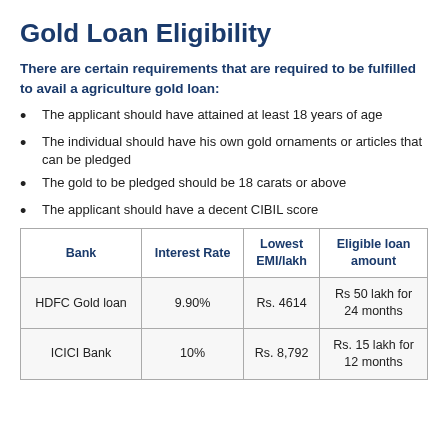Gold Loan Eligibility
There are certain requirements that are required to be fulfilled to avail a agriculture gold loan:
The applicant should have attained at least 18 years of age
The individual should have his own gold ornaments or articles that can be pledged
The gold to be pledged should be 18 carats or above
The applicant should have a decent CIBIL score
| Bank | Interest Rate | Lowest EMI/lakh | Eligible loan amount |
| --- | --- | --- | --- |
| HDFC Gold loan | 9.90% | Rs. 4614 | Rs 50 lakh for 24 months |
| ICICI Bank | 10% | Rs. 8,792 | Rs. 15 lakh for 12 months |